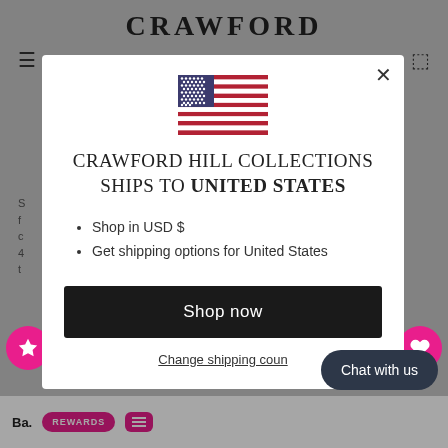[Figure (screenshot): E-commerce website popup modal for Crawford Hill Collections showing shipping destination as United States, with US flag, bullet points about USD and shipping options, Shop now button, and Change shipping country link. Background shows the Crawford website with pink circle icon buttons and a bottom bar with REWARDS button.]
CRAWFORD HILL COLLECTIONS SHIPS TO UNITED STATES
Shop in USD $
Get shipping options for United States
Shop now
Change shipping coun...
Chat with us
Ba.
REWARDS